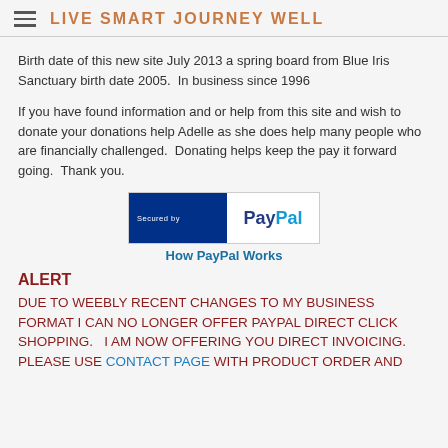LIVE SMART JOURNEY WELL
Birth date of this new site July 2013 a spring board from Blue Iris Sanctuary birth date 2005.  In business since 1996
If you have found information and or help from this site and wish to donate your donations help Adelle as she does help many people who are financially challenged.  Donating helps keep the pay it forward going.  Thank you.
[Figure (logo): PayPal 'Secured by PayPal' badge with blue left panel and white right panel with PayPal wordmark]
How PayPal Works
ALERT
DUE TO WEEBLY RECENT CHANGES TO MY BUSINESS FORMAT I CAN NO LONGER OFFER PAYPAL DIRECT CLICK SHOPPING.  I AM NOW OFFERING YOU DIRECT INVOICING.  PLEASE USE CONTACT PAGE WITH PRODUCT ORDER AND